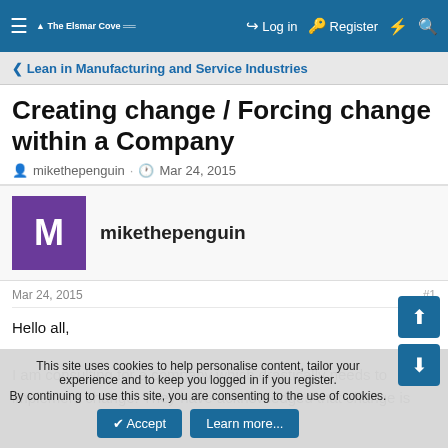☰  The Elsmar Cove  |  Log in  Register  ⚡  🔍
< Lean in Manufacturing and Service Industries
Creating change / Forcing change within a Company
mikethepenguin · Mar 24, 2015
mikethepenguin
Mar 24, 2015  #1
Hello all,

I am consulting for a company which drastically needs to implement change. They have acknowledged that change is
This site uses cookies to help personalise content, tailor your experience and to keep you logged in if you register.
By continuing to use this site, you are consenting to the use of cookies.
✔ Accept   Learn more...